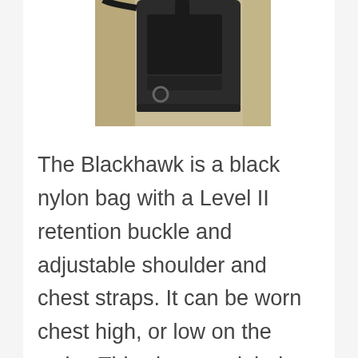[Figure (photo): Photo of a black nylon Blackhawk chest pack holster being worn, showing the bag against khaki/tan pants/clothing with straps and a D-ring visible.]
The Blackhawk is a black nylon bag with a Level II retention buckle and adjustable shoulder and chest straps. It can be worn chest high, or low on the waist. This chest pack holster is known for its good fit and retention. The "Spec-Ops" part may be a bit overstated however. Attach the words tactical, SpecOps, or Special Operations to toilet paper and it will sell better